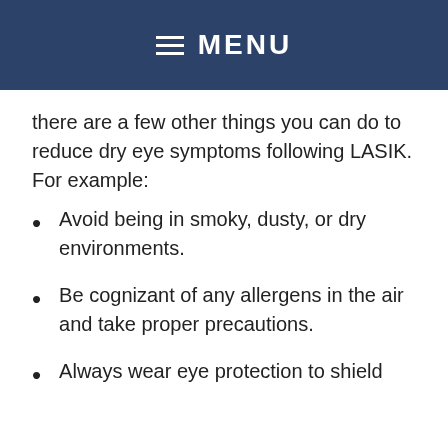MENU
there are a few other things you can do to reduce dry eye symptoms following LASIK. For example:
Avoid being in smoky, dusty, or dry environments.
Be cognizant of any allergens in the air and take proper precautions.
Always wear eye protection to shield